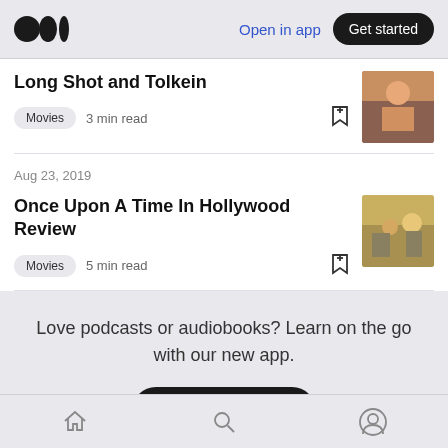Medium logo | Open in app | Get started
Long Shot and Tolkein
Movies  3 min read
Aug 23, 2019
Once Upon A Time In Hollywood Review
Movies  5 min read
Love podcasts or audiobooks? Learn on the go with our new app.
Try Knowable
Home | Search | Profile